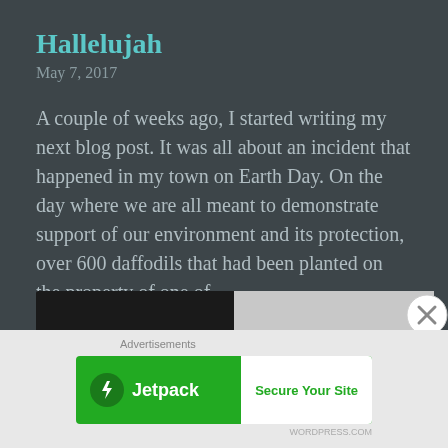Hallelujah
May 7, 2017
A couple of weeks ago, I started writing my next blog post. It was all about an incident that happened in my town on Earth Day. On the day where we are all meant to demonstrate support of our environment and its protection,  over 600 daffodils that had been planted on the property of one of …
More
[Figure (other): Icon bar with comment bubble and link/chain icons on dark background]
[Figure (photo): Partial image visible at bottom of main content area, dark with light elements]
[Figure (other): Close/dismiss button (X in circle) at bottom right]
Advertisements
[Figure (other): Jetpack advertisement banner with green background, Jetpack logo and lightning bolt icon on left, white 'Secure Your Site' button on right]